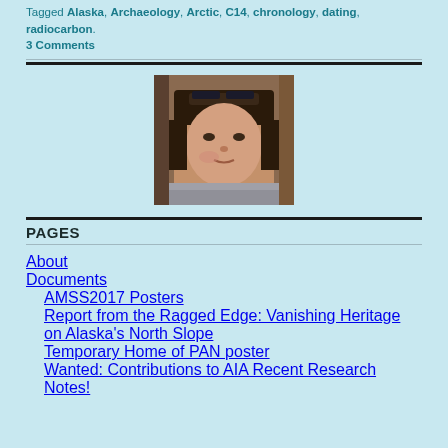Tagged Alaska, Archaeology, Arctic, C14, chronology, dating, radiocarbon.
3 Comments
[Figure (photo): Portrait photo of a woman with dark hair and sunglasses on head, wearing a grey scarf, looking at camera]
PAGES
About
Documents
AMSS2017 Posters
Report from the Ragged Edge: Vanishing Heritage on Alaska's North Slope
Temporary Home of PAN poster
Wanted: Contributions to AIA Recent Research Notes!